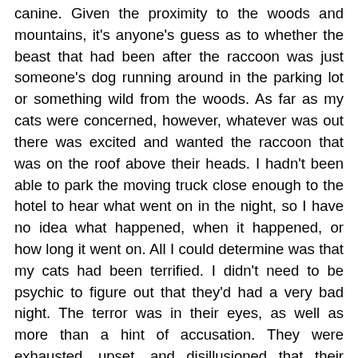canine. Given the proximity to the woods and mountains, it's anyone's guess as to whether the beast that had been after the raccoon was just someone's dog running around in the parking lot or something wild from the woods. As far as my cats were concerned, however, whatever was out there was excited and wanted the raccoon that was on the roof above their heads. I hadn't been able to park the moving truck close enough to the hotel to hear what went on in the night, so I have no idea what happened, when it happened, or how long it went on. All I could determine was that my cats had been terrified. I didn't need to be psychic to figure out that they'd had a very bad night. The terror was in their eyes, as well as more than a hint of accusation. They were exhausted, upset, and disillusioned that their mother would allow them to suffer such an ordeal all alone. That morning while I fed them breakfast in the truck, cleaning up as best as I could and spraying some aromatherapy scent so we could all breathe a little better in there, I apologized whole-heartedly to my feline children and vowed to stay in the vehicle with them if I ever had to make them stay in a vehicle overnight again. I kept my promise to them, not only for the rest of that trip, but also for the 13,000 miles we traveled together last summer.